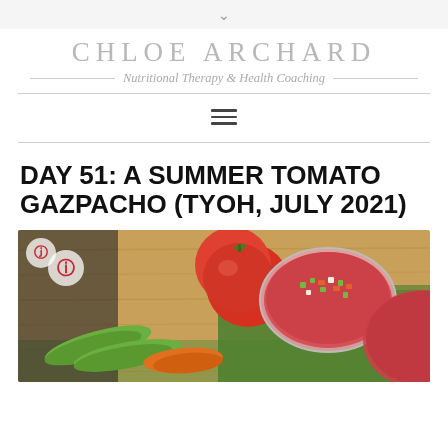↓
CHLOE ARCHARD
Nutritional Therapy & Health Coaching
[Figure (other): Hamburger menu icon with three horizontal lines]
DAY 51: A SUMMER TOMATO GAZPACHO (TYOH, JULY 2021)
[Figure (photo): Photo of gazpacho soup in glass bowls topped with diced cucumber, tomato and peppers, alongside fresh tomato, cucumbers and carrots on a wooden cutting board with grass in background. Pinterest icon overlay in top left.]